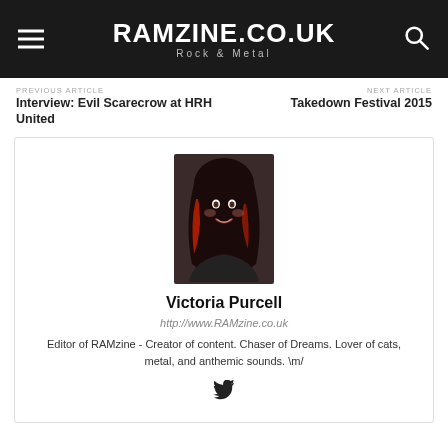RAMZINE.CO.UK — Rock & Metal
PREVIOUS ARTICLE
Interview: Evil Scarecrow at HRH United
NEXT ARTICLE
Takedown Festival 2015
[Figure (photo): Portrait photo of Victoria Purcell, a woman with long dark hair with red highlights, smiling, wearing a dark outfit]
Victoria Purcell
http://www.RAMzine.co.uk
Editor of RAMzine - Creator of content. Chaser of Dreams. Lover of cats, metal, and anthemic sounds. \m/
[Figure (logo): Twitter bird icon]